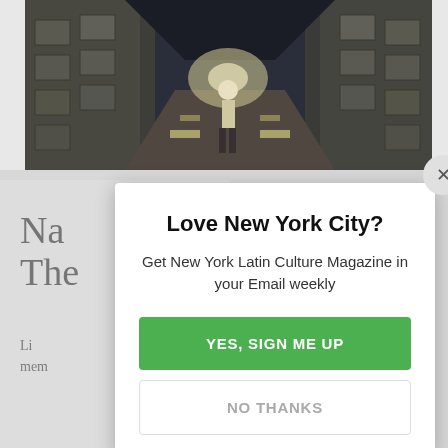[Figure (photo): A person standing in a narrow cemetery corridor at night, with illuminated stone mausoleum walls on both sides, photographed from a distance showing a long passageway]
Na
The
Li
mem
Love New York City?
Get New York Latin Culture Magazine in your Email weekly
YES, SIGN ME UP
NO THANKS